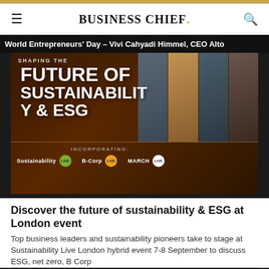BUSINESS CHIEF.
World Entrepreneurs' Day – Vivi Cahyadi Himmel, CEO Alto
[Figure (photo): Event promotional image for Sustainability Live London showing the text 'Shaping the Future of Sustainability & ESG' overlaid on a dark background with crowd silhouette. Below a divider line: 'INCORPORATING:' followed by logos for Sustainability LIVE (green badge), B-Corp LIVE (orange badge), and MARCH LIVE (white badge). Right side shows photos of business leaders and speakers.]
Discover the future of sustainability & ESG at London event
Top business leaders and sustainability pioneers take to stage at Sustainability Live London hybrid event 7-8 September to discuss ESG, net zero, B Corp